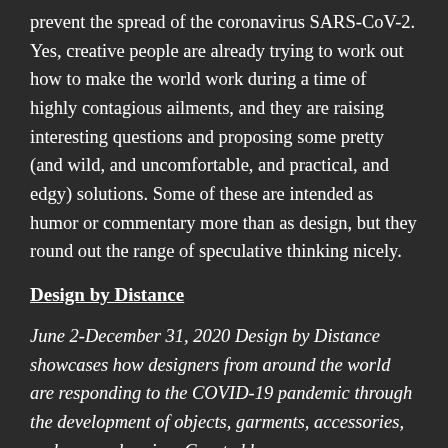prevent the spread of the coronavirus SARS-CoV-2. Yes, creative people are already trying to work out how to make the world work during a time of highly contagious ailments, and they are raising interesting questions and proposing some pretty (and wild, and uncomfortable, and practical, and edgy) solutions. Some of these are intended as humor or commentary more than as design, but they round out the range of speculative thinking nicely.
Design by Distance
June 2-December 31, 2020 Design by Distance showcases how designers from around the world are responding to the COVID-19 pandemic through the development of objects, garments, accessories, and space planning. Curated by